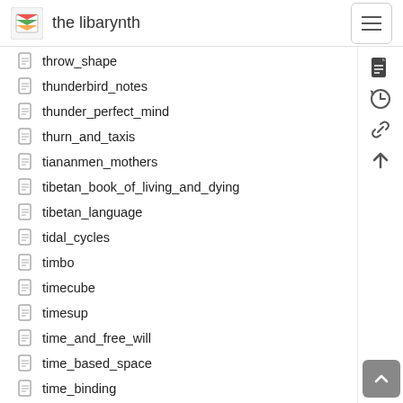the libarynth
throw_shape
thunderbird_notes
thunder_perfect_mind
thurn_and_taxis
tiananmen_mothers
tibetan_book_of_living_and_dying
tibetan_language
tidal_cycles
timbo
timecube
timesup
time_and_free_will
time_based_space
time_binding
time_of_flight_cameras
time_server
time_servers
time_travel